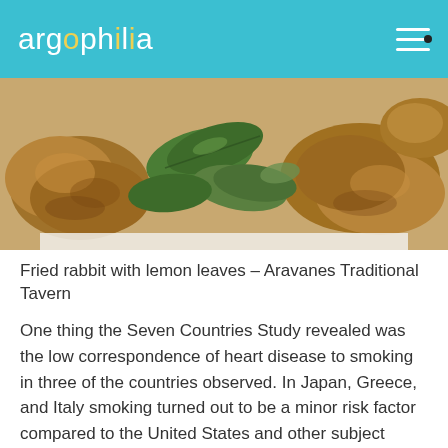argophilia
[Figure (photo): Close-up photo of fried rabbit pieces with green lemon leaves on a white plate]
Fried rabbit with lemon leaves – Aravanes Traditional Tavern
One thing the Seven Countries Study revealed was the low correspondence of heart disease to smoking in three of the countries observed. In Japan, Greece, and Italy smoking turned out to be a minor risk factor compared to the United States and other subject countries. It was these and the many other extraordinary factors from these countries that eventually formed the foundation of the dietary recommendations now popularized as the